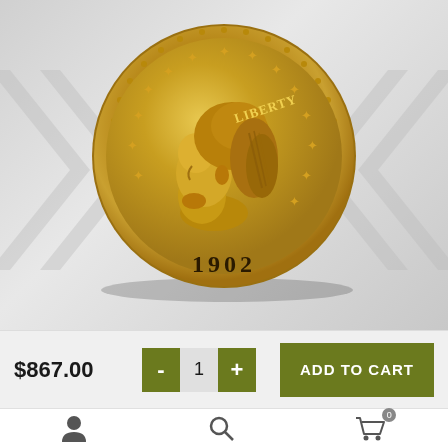[Figure (photo): Gold 1902 Liberty Head coin (obverse), showing Lady Liberty with stars around the rim and date 1902 at the bottom, displayed against a gray gradient background with faint arrow/chevron shapes.]
$867.00
- 1 +
ADD TO CART
[Figure (infographic): Bottom navigation bar with three icons: user/account icon, search/magnifying glass icon, and shopping cart icon with a badge showing 0.]